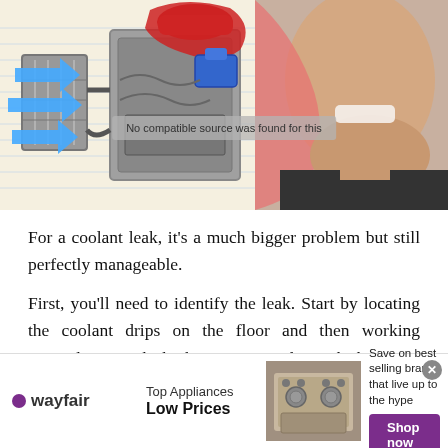[Figure (illustration): Split image: left side shows a stylized engine/radiator diagram with blue arrows indicating coolant flow, on a lined notebook background. Right side shows a close-up photo of a man's face (chin/lower face) with a pink cutout shape behind him.]
For a coolant leak, it's a much bigger problem but still perfectly manageable.
First, you'll need to identify the leak. Start by locating the coolant drips on the floor and then working upwards. It might be best to get underneath the car at this point, so make sure it's in Park, and the parking brake is on. Safety first.
(Note: don't rest your head in or anywhere too near the puddle – you'll get coolant in your hair and, dangerously,
[Figure (screenshot): Advertisement banner: Wayfair ad showing 'Top Appliances Low Prices' with a stove image and 'Save on best selling brands that live up to the hype' with a purple 'Shop now' button. Has a close X button in top right.]